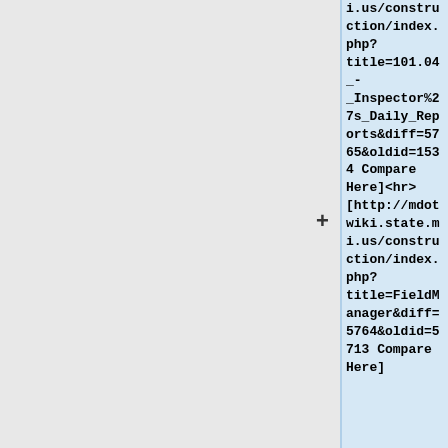i.us/construction/index.php?title=101.04_-_Inspector%27s_Daily_Reports&diff=5765&oldid=1534 Compare Here]<hr>[http://mdotwiki.state.mi.us/construction/index.php?title=FieldManager&diff=5764&oldid=5713 Compare Here]